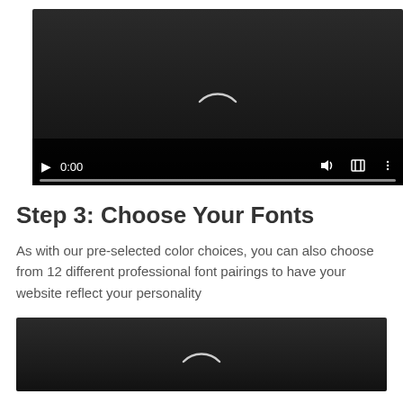[Figure (screenshot): Video player with dark background, loading spinner arc, playback controls showing play button, 0:00 timestamp, volume, fullscreen, and more options icons, with a progress bar at the bottom]
Step 3: Choose Your Fonts
As with our pre-selected color choices, you can also choose from 12 different professional font pairings to have your website reflect your personality
[Figure (screenshot): Second video player with dark background and loading spinner arc, partially visible at bottom of page]